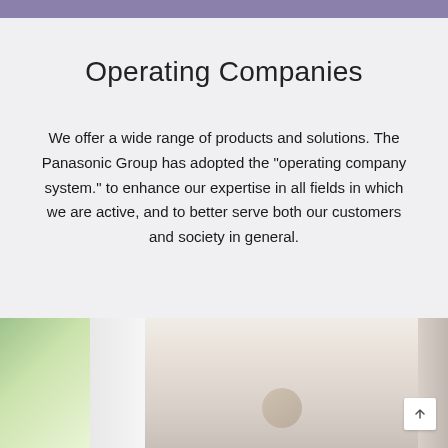Operating Companies
We offer a wide range of products and solutions. The Panasonic Group has adopted the "operating company system." to enhance our expertise in all fields in which we are active, and to better serve both our customers and society in general.
[Figure (photo): Photo strip at bottom of page showing blurred indoor scene with green plants on left, white window frames in center, and muted beige/grey tones on right, with a blurred human figure visible in center-bottom area.]